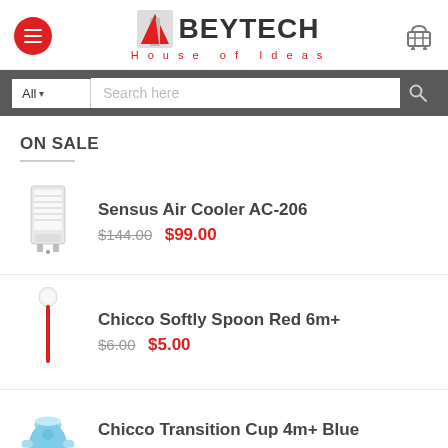[Figure (logo): Beytech House of Ideas logo with red menu button and cart icon in header]
[Figure (screenshot): Search bar with All dropdown and search here input field]
ON SALE
Sensus Air Cooler AC-206 $144.00 $99.00
Chicco Softly Spoon Red 6m+ $6.00 $5.00
Chicco Transition Cup 4m+ Blue $12.00 $11.00
Chicco Natural Sensation Sweet Perfumed Wat...